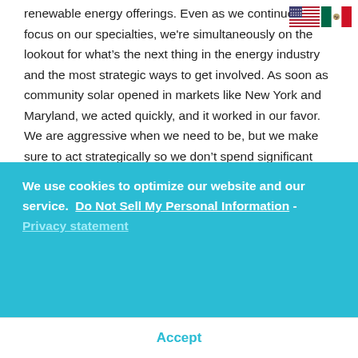renewable energy offerings. Even as we continue to focus on our specialties, we're simultaneously on the lookout for what's the next thing in the energy industry and the most strategic ways to get involved. As soon as community solar opened in markets like New York and Maryland, we acted quickly, and it worked in our favor. We are aggressive when we need to be, but we make sure to act strategically so we don't spend significant capital or resources on speculative opportunities.
[Figure (illustration): US flag and Mexico flag icons in top right corner]
We use cookies to optimize our website and our service.  Do Not Sell My Personal Information - Privacy statement
Accept